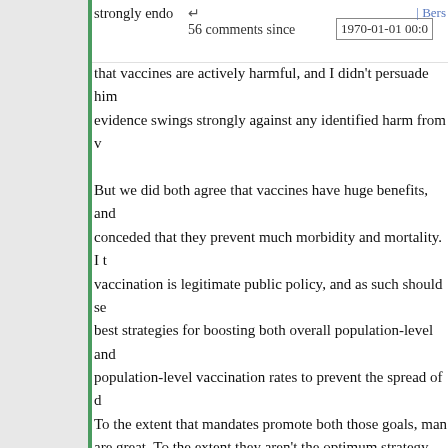strongly endo  56 comments since  1970-01-01 00:0  [Bers
that vaccines are actively harmful, and I didn't persuade him... evidence swings strongly against any identified harm from v... But we did both agree that vaccines have huge benefits, and... conceded that they prevent much morbidity and mortality. I t... vaccination is legitimate public policy, and as such should se... best strategies for boosting both overall population-level and... population-level vaccination rates to prevent the spread of d... To the extent that mandates promote both those goals, man... are great. To the extent they aren't the optimum strategy, we... be willing to pursue others instead. Otherwise, we're just int... in ideology and not practical solutions. For example, let's sa... figured out how to get mandates to increase population-leve... vaccination rates to 95%. But say that last 5% reacts to thos... mandates by banding together and refusing vaccination. No... problem here isn't that they're refusing, but that they're banding together. In other words, your policy has generated a comm... refuses vaccination, and as a community will thereafter be susceptible to outbreaks.